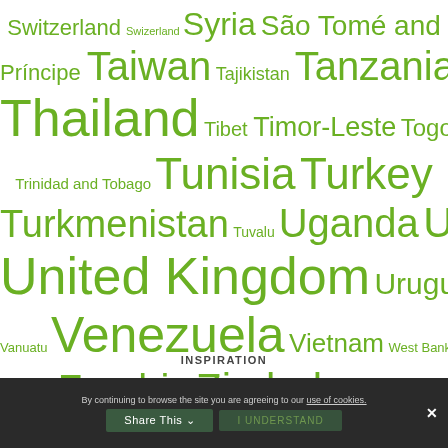[Figure (infographic): A word cloud of country names in various font sizes, all in green color. Countries shown: Switzerland, Swizerland, Syria, São Tomé and Príncipe, Taiwan, Tajikistan, Tanzania, Thailand, Tibet, Timor-Leste, Togo, Tonga, Trinidad and Tobago, Tunisia, Turkey, Turkmenistan, Tuvalu, Uganda, Ukraine, United Kingdom, Uruguay, Uzbekistan, Vanuatu, Venezuela, Vietnam, West Bank, Yemen, Zambia, Zimbabwe]
INSPIRATION
By continuing to browse the site you are agreeing to our use of cookies. Share This I UNDERSTAND